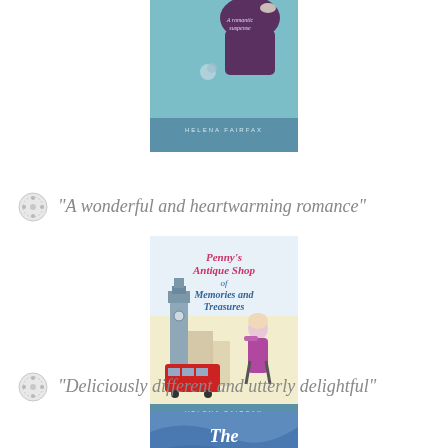[Figure (photo): Book cover of a Helena Fairfax novel with teal/blue background, text 'A romantic suspense' and author name 'HELENA FAIRFAX', partially cropped at top]
“A wonderful and heartwarming romance”
[Figure (photo): Book cover: Penny's Antique Shop of Memories and Treasures by Helena Fairfax, showing Big Ben, a red bus, and a woman with a pink coat on a yellow/cream background]
“Deliciously different and utterly delightful”
[Figure (photo): Book cover partially visible: 'The Silk ...' on a blue background, by Helena Fairfax]